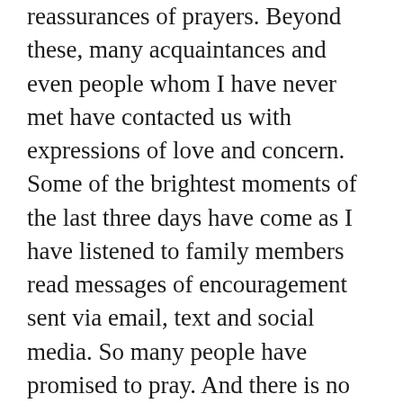reassurances of prayers. Beyond these, many acquaintances and even people whom I have never met have contacted us with expressions of love and concern. Some of the brightest moments of the last three days have come as I have listened to family members read messages of encouragement sent via email, text and social media. So many people have promised to pray. And there is no doubt that the Lord has heard and answered those prayers.
Though doctors have not been able to give a definitive diagnosis, many of the more serious considerations have been ruled out. I will be under the care of various physicians for the foreseeable future but hope to be cleared to return to my normal responsibilities in the near future.
There is no way that I could possibly thank each